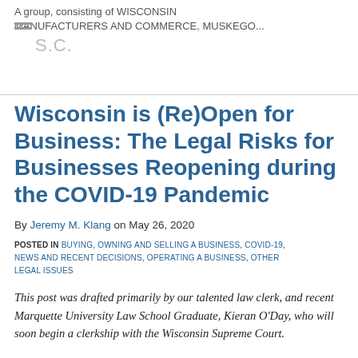A group, consisting of WISCONSIN MANUFACTURERS AND COMMERCE, MUSKEGO... S.C.
Wisconsin is (Re)Open for Business: The Legal Risks for Businesses Reopening during the COVID-19 Pandemic
By Jeremy M. Klang on May 26, 2020
POSTED IN BUYING, OWNING AND SELLING A BUSINESS, COVID-19, NEWS AND RECENT DECISIONS, OPERATING A BUSINESS, OTHER LEGAL ISSUES
This post was drafted primarily by our talented law clerk, and recent Marquette University Law School Graduate, Kieran O'Day, who will soon begin a clerkship with the Wisconsin Supreme Court.